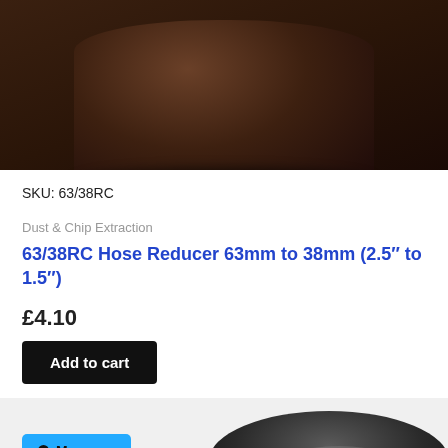[Figure (photo): Close-up photo of a dark brown/black rubber hose reducer fitting, cylindrical shape viewed from above, showing the top and tapered sides.]
SKU: 63/38RC
Dust & Chip Extraction
63/38RC Hose Reducer 63mm to 38mm (2.5″ to 1.5″)
£4.10
Add to cart
[Figure (photo): Partial photo of a black rubber hose reducer fitting viewed from above, showing the ring/rim of the fitting.]
Message